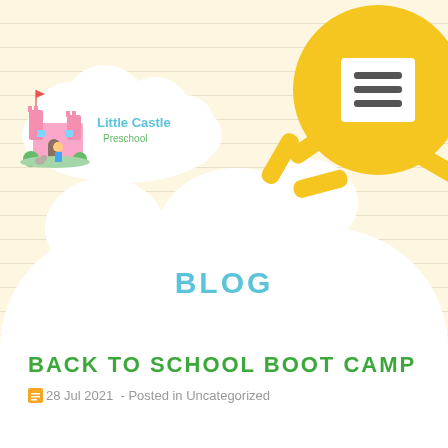[Figure (logo): Little Castle Preschool logo inside a cloud shape with castle illustration and colorful text]
[Figure (illustration): Yellow sun with rays in the top right corner, containing a hamburger menu icon]
BLOG
BACK TO SCHOOL BOOT CAMP
28 Jul 2021  - Posted in Uncategorized